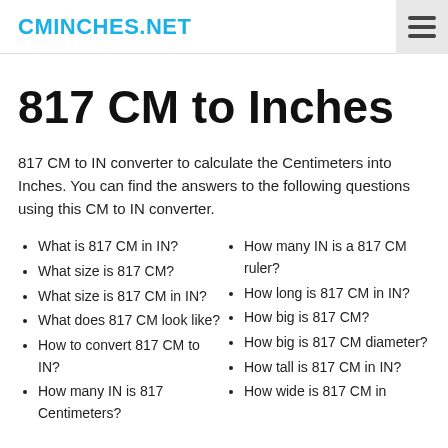CMINCHES.NET
817 CM to Inches
817 CM to IN converter to calculate the Centimeters into Inches. You can find the answers to the following questions using this CM to IN converter.
What is 817 CM in IN?
What size is 817 CM?
What size is 817 CM in IN?
What does 817 CM look like?
How to convert 817 CM to IN?
How many IN is 817 Centimeters?
How many IN is a 817 CM ruler?
How long is 817 CM in IN?
How big is 817 CM?
How big is 817 CM diameter?
How tall is 817 CM in IN?
How wide is 817 CM in